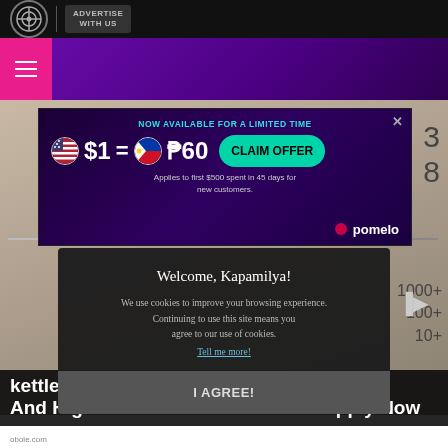ADVERTISE WITH US
[Figure (screenshot): Purple navigation header bar with hamburger menu icon on pink background]
[Figure (infographic): Advertisement banner: NOW AVAILABLE FOR A LIMITED TIME $1 = P60 CLAIM OFFER. Applies to first $500 spent in 45 days for new customers. pomelo logo.]
[Figure (screenshot): Cookie consent modal: Welcome, Kapamilya! We use cookies to improve your browsing experience. Continuing to use this site means you agree to our use of cookies. Tell me more! I AGREE!]
kettle m ... ool And High School Jobs in Ashburn Apply Now
oboie.com